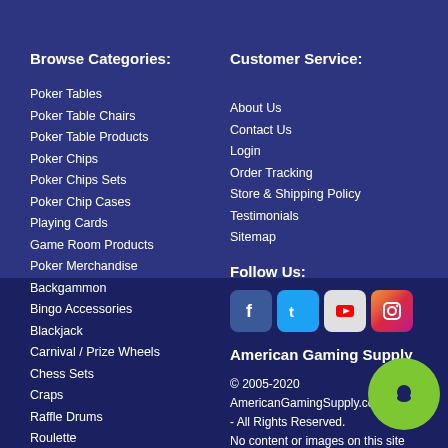Browse Categories:
Poker Tables
Poker Table Chairs
Poker Table Products
Poker Chips
Poker Chips Sets
Poker Chip Cases
Playing Cards
Game Room Products
Poker Merchandise
Backgammon
Bingo Accessories
Blackjack
Carnival / Prize Wheels
Chess Sets
Craps
Raffle Drums
Roulette
Shuffle Boards
Slot Machines
Gift Cards
Customer Service:
About Us
Contact Us
Login
Order Tracking
Store & Shipping Policy
Testimonials
Sitemap
Follow Us:
[Figure (logo): Social media icons: Facebook, Twitter, YouTube, Instagram]
American Gaming Supply
© 2005-2020 AmericanGamingSupply.com - All Rights Reserved. No content or images on this site